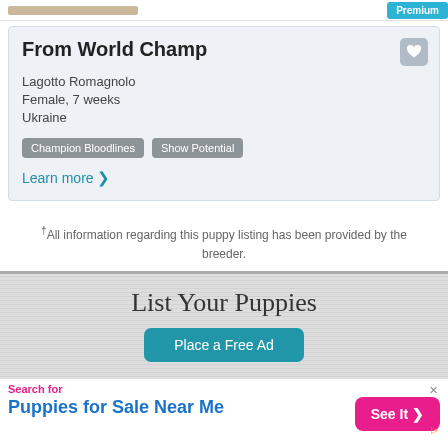Premium
From World Champ
Lagotto Romagnolo
Female, 7 weeks
Ukraine
Champion Bloodlines
Show Potential
Learn more ›
†All information regarding this puppy listing has been provided by the breeder.
List Your Puppies
Place a Free Ad
Search for
Puppies for Sale Near Me
See It >